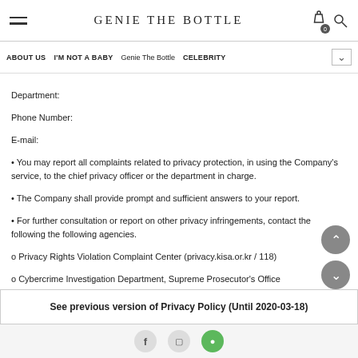GENIE THE BOTTLE
ABOUT US  I'M NOT A BABY  Genie The Bottle  CELEBRITY
Department:
Phone Number:
E-mail:
• You may report all complaints related to privacy protection, in using the Company's service, to the chief privacy officer or the department in charge.
• The Company shall provide prompt and sufficient answers to your report.
• For further consultation or report on other privacy infringements, contact the following the following agencies.
o Privacy Rights Violation Complaint Center (privacy.kisa.or.kr / 118)
o Cybercrime Investigation Department, Supreme Prosecutor's Office (www.spo.go.kr / 02-3480-2000)
o Cyber Bureau, National Police Agency (www.ctrc.go.kr/ 182)
■ Duty to notify
The Company shall notify users of any changes to this privacy policy through the website (or through individual notifications).
• This privacy policy will be enforced starting 0000Y, 00M 00D.
See previous version of Privacy Policy (Until 2020-03-18)